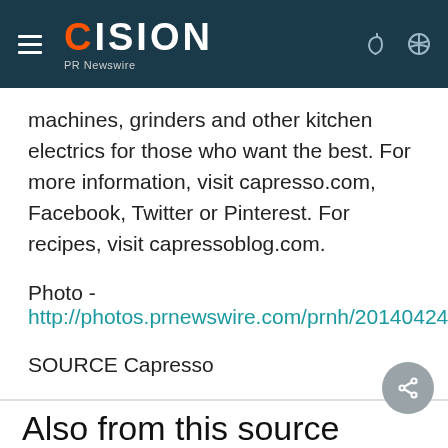CISION PR Newswire
machines, grinders and other kitchen electrics for those who want the best. For more information, visit capresso.com, Facebook, Twitter or Pinterest. For recipes, visit capressoblog.com.
Photo -
http://photos.prnewswire.com/prnh/20140424/78161
SOURCE Capresso
Also from this source